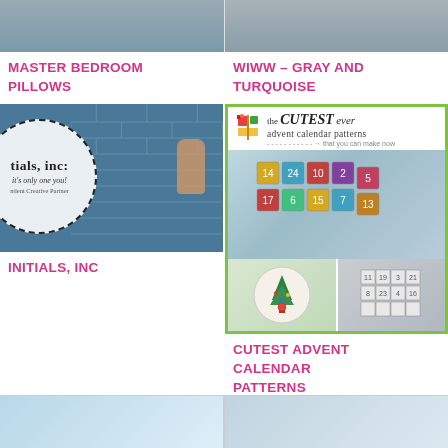[Figure (photo): Partially visible image at top left, bedroom pillows related]
MASTER BEDROOM PILLOWS
[Figure (photo): Partially visible image at top right, person wearing gray and turquoise]
WIWW – GRAY AND TURQUOISE
[Figure (logo): Initials Inc logo with dashed circle, text: tials, inc: it's only one you! Independent Creative Partner, overlaid on blue brick wall with hand]
INITIALS, INC
[Figure (photo): Advent calendar patterns collage: text 'the CUTEST ever advent calendar patterns that you can make now', decorated advent calendar boxes, Christmas tree plate, paper squares]
CUTEST ADVENT CALENDAR PATTERNS
[Figure (photo): Partially visible image at bottom left, blurred colorful background]
[Figure (photo): Partially visible image at bottom right, blurred blue background]